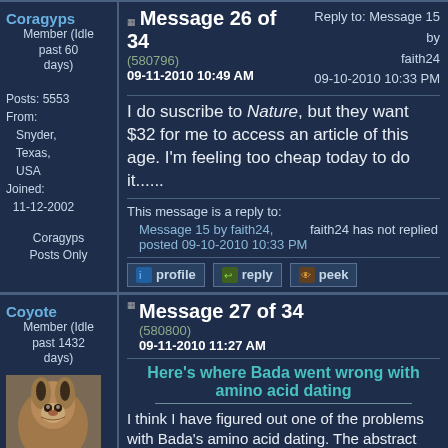Message 26 of 34
(580796)
09-11-2010 10:49 AM
Reply to: Message 15 by faith24
09-10-2010 10:33 PM
Coragyps
Member (Idle past 60 days)
Posts: 5553
From: Snyder, Texas, USA
Joined: 11-12-2002
Coragyps Posts Only
I do suscribe to Nature, but they want $32 for me to access an article of this age. I'm feeling too cheap today to do it......
This message is a reply to:
Message 15 by faith24, posted 09-10-2010 10:33 PM
faith24 has not replied
Message 27 of 34
(580800)
09-11-2010 11:27 AM
Coyote
Member (Idle past 1432 days)
Here's where Bada went wrong with amino acid dating
I think I have figured out one of the problems with Bada's amino acid dating. The abstract from the Nature article